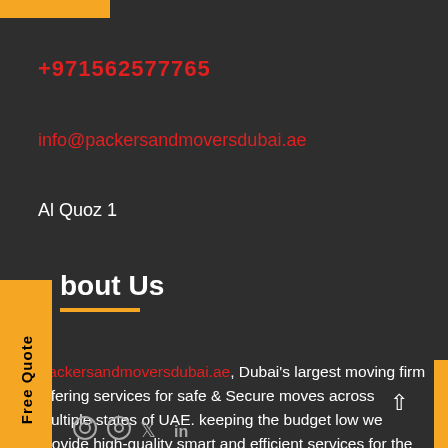+971562577765
info@packersandmoversdubai.ae
Al Quoz 1
About Us
Packersandmoversdubai.ae, Dubai's largest moving firm offering services for safe & Secure moves across multiple states of UAE. keeping the budget low we provide high-quality smart and efficient services for the comfortable move!
[Figure (other): Social media icons: Facebook, Pinterest, Instagram, Twitter, LinkedIn]